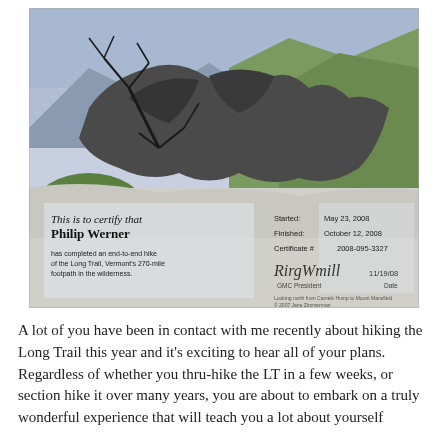[Figure (illustration): A completion certificate for Philip Werner who finished the Long Trail end-to-end hike. The certificate features a hand-drawn/painted illustration of a rocky mountain landscape with trees and hills. The certificate text reads: 'This is to certify that Philip Werner has completed an end-to-end hike of the Long Trail, Vermont's 270-mile footpath in the wilderness.' Started: May 23, 2008. Finished: October 12, 2008. Certificate # 2008-095-3327. Signed by GMC President. Date 11/19/08.]
A lot of you have been in contact with me recently about hiking the Long Trail this year and it's exciting to hear all of your plans. Regardless of whether you thru-hike the LT in a few weeks, or section hike it over many years, you are about to embark on a truly wonderful experience that will teach you a lot about yourself